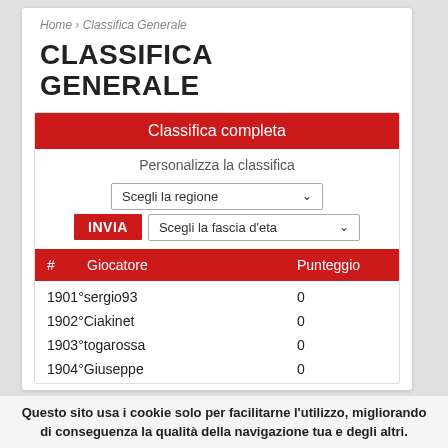Home › Classifica Generale
CLASSIFICA GENERALE
Classifica completa
Personalizza la classifica
Scegli la regione
INVIA   Scegli la fascia d'eta
| # | Giocatore | Punteggio |
| --- | --- | --- |
| 1901°sergio93 |  | 0 |
| 1902°Ciakinet |  | 0 |
| 1903°togarossa |  | 0 |
| 1904°Giuseppe |  | 0 |
Questo sito usa i cookie solo per facilitarne l'utilizzo, migliorando di conseguenza la qualità della navigazione tua e degli altri.